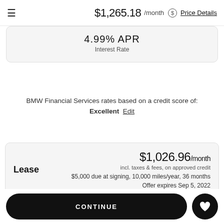$1,265.18 /month  Price Details
4.99% APR
Interest Rate
BMW Financial Services rates based on a credit score of: Excellent  Edit
Lease  $1,026.96/month
incl. taxes & fees, on approved credit
$5,000 due at signing, 10,000 miles/year, 36 months
Offer expires Sep 5, 2022
CONTINUE